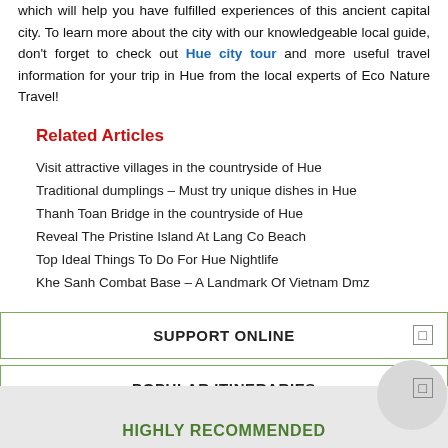which will help you have fulfilled experiences of this ancient capital city. To learn more about the city with our knowledgeable local guide, don't forget to check out Hue city tour and more useful travel information for your trip in Hue from the local experts of Eco Nature Travel!
Related Articles
Visit attractive villages in the countryside of Hue
Traditional dumplings – Must try unique dishes in Hue
Thanh Toan Bridge in the countryside of Hue
Reveal The Pristine Island At Lang Co Beach
Top Ideal Things To Do For Hue Nightlife
Khe Sanh Combat Base – A Landmark Of Vietnam Dmz
SUPPORT ONLINE
POPULAR ITINERARIES
BEST SELLING
HIGHLY RECOMMENDED